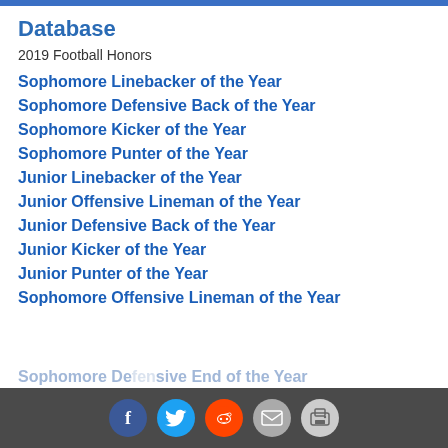Database
2019 Football Honors
Sophomore Linebacker of the Year
Sophomore Defensive Back of the Year
Sophomore Kicker of the Year
Sophomore Punter of the Year
Junior Linebacker of the Year
Junior Offensive Lineman of the Year
Junior Defensive Back of the Year
Junior Kicker of the Year
Junior Punter of the Year
Sophomore Offensive Lineman of the Year
Sophomore Defensive End of the Year